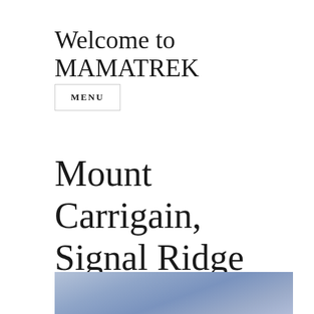Welcome to MAMATREK
MENU
Mount Carrigain, Signal Ridge Trail
[Figure (photo): Partial photo showing a blue-toned sky or landscape, cropped at the bottom of the page]